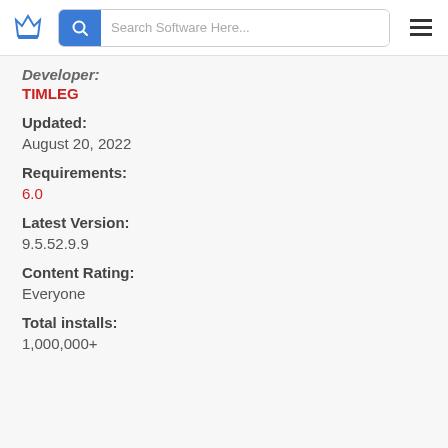Search Software Here...
Developer:
TIMLEG
Updated:
August 20, 2022
Requirements:
6.0
Latest Version:
9.5.52.9.9
Content Rating:
Everyone
Total installs:
1,000,000+